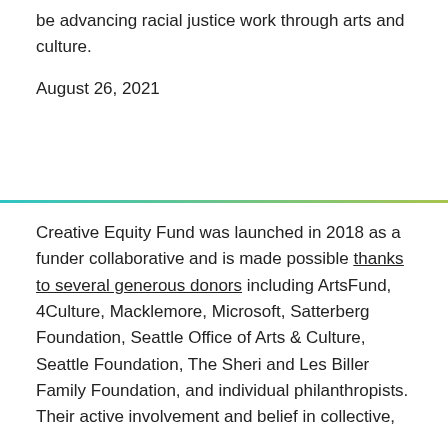be advancing racial justice work through arts and culture.
August 26, 2021
Creative Equity Fund was launched in 2018 as a funder collaborative and is made possible thanks to several generous donors including ArtsFund, 4Culture, Macklemore, Microsoft, Satterberg Foundation, Seattle Office of Arts & Culture, Seattle Foundation, The Sheri and Les Biller Family Foundation, and individual philanthropists. Their active involvement and belief in collective,